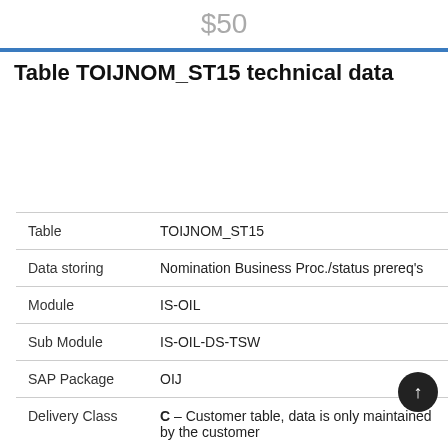$50
Table TOIJNOM_ST15 technical data
|  |  |
| --- | --- |
| Table | TOIJNOM_ST15 |
| Data storing | Nomination Business Proc./status prereq's |
| Module | IS-OIL |
| Sub Module | IS-OIL-DS-TSW |
| SAP Package | OIJ |
| Delivery Class | C – Customer table, data is only maintained by the customer |
| Component | IS-OIL |
| Table | TRANSP |